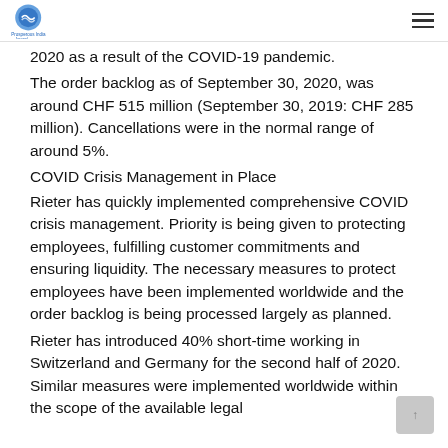Rieter logo and navigation
2020 as a result of the COVID-19 pandemic.
The order backlog as of September 30, 2020, was around CHF 515 million (September 30, 2019: CHF 285 million). Cancellations were in the normal range of around 5%.
COVID Crisis Management in Place
Rieter has quickly implemented comprehensive COVID crisis management. Priority is being given to protecting employees, fulfilling customer commitments and ensuring liquidity. The necessary measures to protect employees have been implemented worldwide and the order backlog is being processed largely as planned.
Rieter has introduced 40% short-time working in Switzerland and Germany for the second half of 2020. Similar measures were implemented worldwide within the scope of the available legal